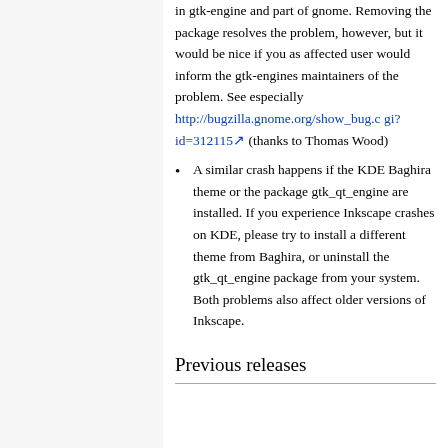in gtk-engine and part of gnome. Removing the package resolves the problem, however, but it would be nice if you as affected user would inform the gtk-engines maintainers of the problem. See especially http://bugzilla.gnome.org/show_bug.cgi?id=312115 (thanks to Thomas Wood)
A similar crash happens if the KDE Baghira theme or the package gtk_qt_engine are installed. If you experience Inkscape crashes on KDE, please try to install a different theme from Baghira, or uninstall the gtk_qt_engine package from your system. Both problems also affect older versions of Inkscape.
Previous releases